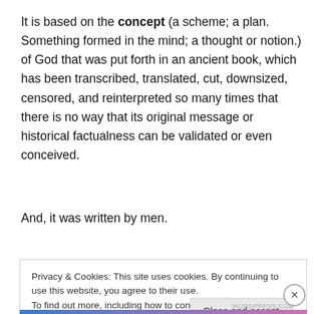It is based on the concept (a scheme; a plan. Something formed in the mind; a thought or notion.) of God that was put forth in an ancient book, which has been transcribed, translated, cut, downsized, censored, and reinterpreted so many times that there is no way that its original message or historical factualness can be validated or even conceived.
And, it was written by men.
Privacy & Cookies: This site uses cookies. By continuing to use this website, you agree to their use.
To find out more, including how to control cookies, see here: Cookie Policy